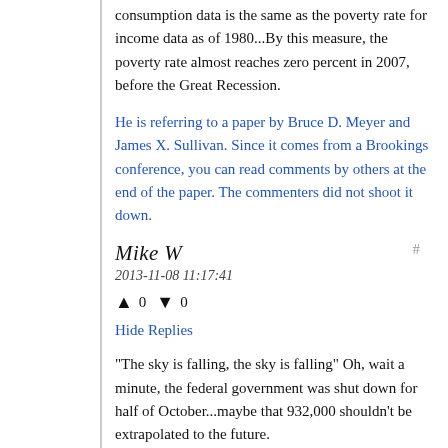consumption data is the same as the poverty rate for income data as of 1980...By this measure, the poverty rate almost reaches zero percent in 2007, before the Great Recession.
He is referring to a paper by Bruce D. Meyer and James X. Sullivan. Since it comes from a Brookings conference, you can read comments by others at the end of the paper. The commenters did not shoot it down.
Mike W
2013-11-08 11:17:41
▲ 0 ▼ 0
Hide Replies
"The sky is falling, the sky is falling" Oh, wait a minute, the federal government was shut down for half of October...maybe that 932,000 shouldn't be extrapolated to the future.
john ...